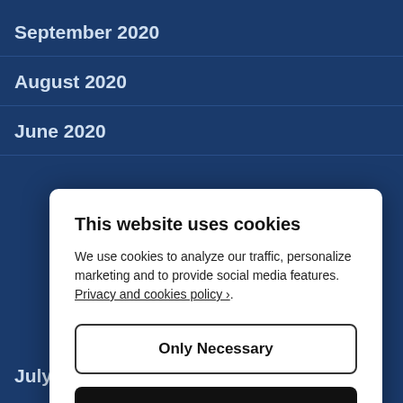September 2020
August 2020
June 2020
July 2019
This website uses cookies
We use cookies to analyze our traffic, personalize marketing and to provide social media features. Privacy and cookies policy ›.
Only Necessary
Allow All Cookies
Configure Settings ›